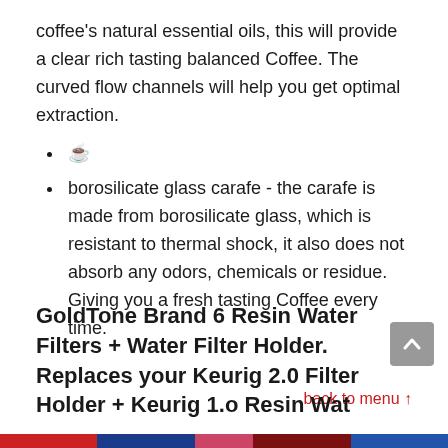coffee's natural essential oils, this will provide a clear rich tasting balanced Coffee. The curved flow channels will help you get optimal extraction.
&#9749;
borosilicate glass carafe - the carafe is made from borosilicate glass, which is resistant to thermal shock, it also does not absorb any odors, chemicals or residue. Giving you a fresh tasting Coffee every time.
back to menu ↑
GoldTone Brand 6 Resin Water Filters + Water Filter Holder. Replaces your Keurig 2.0 Filter Holder + Keurig 1.o Resin Wat...